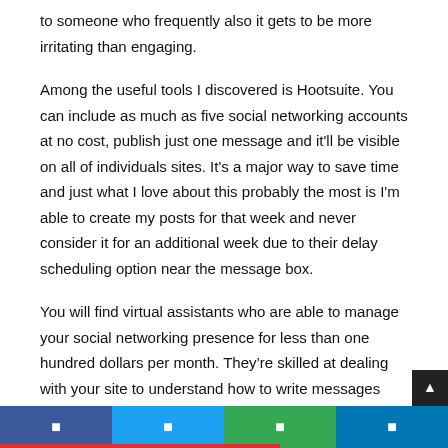to someone who frequently also it gets to be more irritating than engaging.
Among the useful tools I discovered is Hootsuite. You can include as much as five social networking accounts at no cost, publish just one message and it'll be visible on all of individuals sites. It's a major way to save time and just what I love about this probably the most is I'm able to create my posts for that week and never consider it for an additional week due to their delay scheduling option near the message box.
You will find virtual assistants who are able to manage your social networking presence for less than one hundred dollars per month. They're skilled at dealing with your site to understand how to write messages that